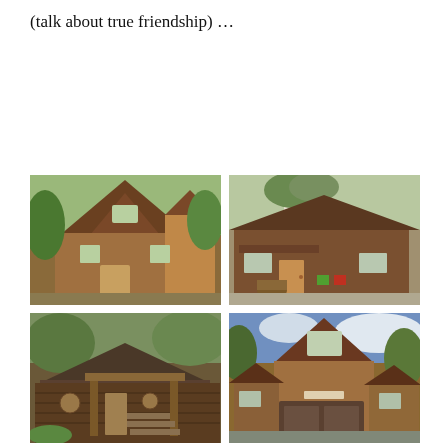(talk about true friendship) …
[Figure (photo): Rustic wooden barn-style building with gambrel roof, multi-story, surrounded by trees]
[Figure (photo): Log cabin style building with white birch trees in front, green and red Adirondack chairs, gravel driveway]
[Figure (photo): Log cabin with covered deck/porch area and exterior staircase, green plants in front]
[Figure (photo): Tall wooden building with steep gabled roof, rustic siding, partially visible stone base, blue sky background]